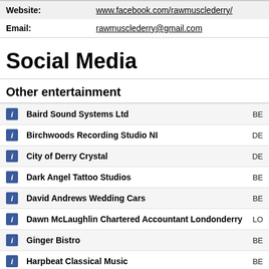| Field | Value |
| --- | --- |
| Website: | www.facebook.com/rawmusclederry/ |
| Email: | rawmusclederry@gmail.com |
Social Media
Other entertainment
Baird Sound Systems Ltd BE
Birchwoods Recording Studio NI DE
City of Derry Crystal DE
Dark Angel Tattoo Studios BE
David Andrews Wedding Cars BE
Dawn McLaughlin Chartered Accountant Londonderry LO
Ginger Bistro BE
Harpbeat Classical Music BE
Predator Airsoft DR